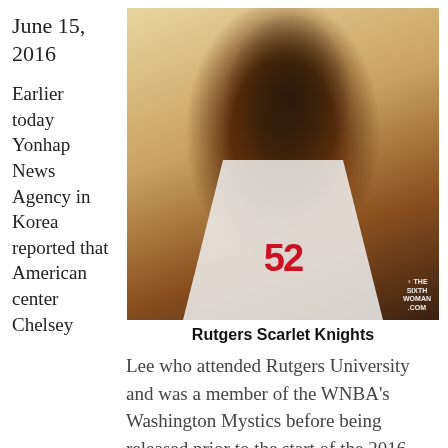June 15, 2016
Earlier today Yonhap News Agency in Korea reported that American center Chelsey
[Figure (photo): Basketball player in Rutgers Scarlet Knights white jersey number 52 holding a basketball, photographed during a game. Photo watermark reads THE SIXTH WOMAN .COM]
Rutgers Scarlet Knights
Lee who attended Rutgers University and was a member of the WNBA's Washington Mystics before being released prior to the start of the 2016 season, has been found by the the Seoul